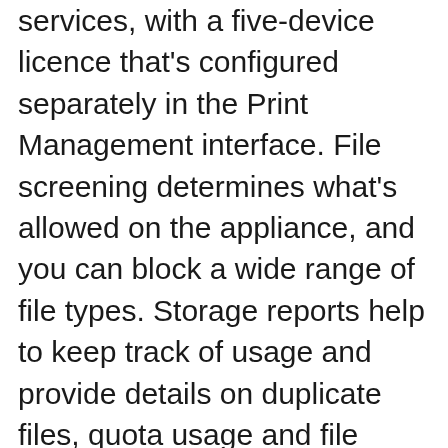services, with a five-device licence that's configured separately in the Print Management interface. File screening determines what's allowed on the appliance, and you can block a wide range of file types. Storage reports help to keep track of usage and provide details on duplicate files, quota usage and file ownership. Considering the price, we'd have expected better than the HighPoint RocketRAID controller due to the distinct lack of array-management tools. Nevertheless, real-world performance is good, as copying a 690MB video clip to and from the appliance returned high read and write rates of 36MB/sec and 19MB/sec.